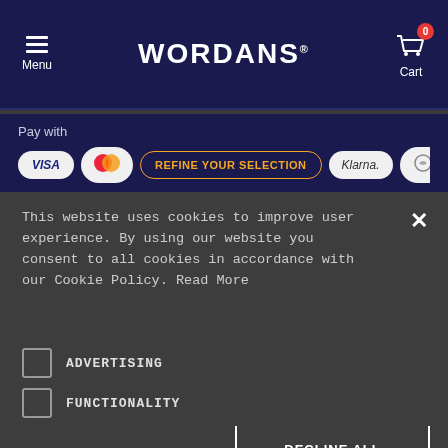Menu | WORDANS | Cart 0
Pay with
[Figure (screenshot): Payment method pills: VISA, Mastercard, REFINE YOUR SELECTION, Klarna, and another icon]
This website uses cookies to improve user experience. By using our website you consent to all cookies in accordance with our Cookie Policy. Read More
NECESSARY (checked)
PERFORMANCE
ADVERTISING
FUNCTIONALITY
ACCEPT ALL
DECLINE ALL